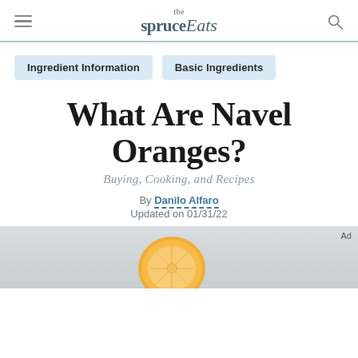the spruce Eats
Ingredient Information
Basic Ingredients
What Are Navel Oranges?
Buying, Cooking, and Recipes
By Danilo Alfaro
Updated on 01/31/22
[Figure (photo): Partial view of a navel orange cut open, showing interior segments, on a light background. Ad label visible.]